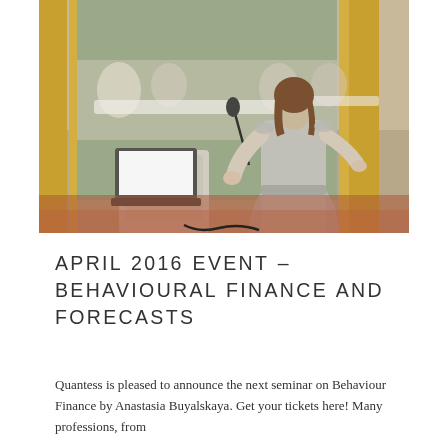[Figure (photo): A woman speaker presenting at a conference or seminar, seen from behind in a grey sleeveless dress, gesturing with hands near a podium with a laptop and microphone, audience visible in the blurred background, conference room with yellow and green curtains.]
APRIL 2016 EVENT – BEHAVIOURAL FINANCE AND FORECASTS
Quantess is pleased to announce the next seminar on Behaviour Finance by Anastasia Buyalskaya. Get your tickets here! Many professions, from